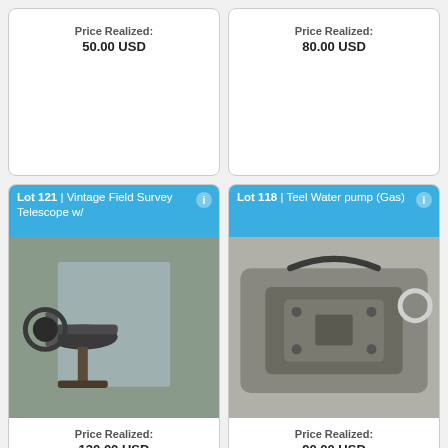Price Realized:
50.00 USD
Price Realized:
80.00 USD
Lot 121 | Vintage Field Survey Telescope w/
[Figure (photo): Vintage field survey telescope on wooden stand inside a warehouse/shed]
Price Realized:
130.00 USD
Lot 118 | Teel Water pump (Gas)
[Figure (photo): Teel gas water pump, black metal casing, viewed from above]
Price Realized:
90.00 USD